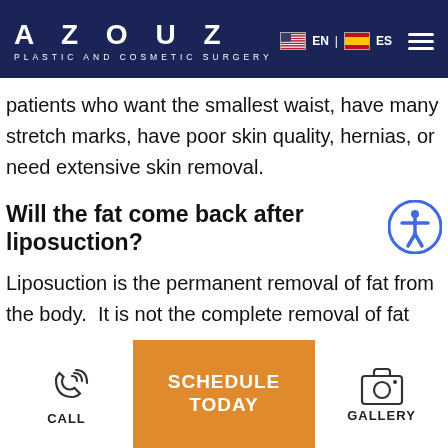AZOUZ PLASTIC AND COSMETIC SURGERY
patients who want the smallest waist, have many stretch marks, have poor skin quality, hernias, or need extensive skin removal.
Will the fat come back after liposuction?
Liposuction is the permanent removal of fat from the body.  It is not the complete removal of fat
[Figure (other): Bottom navigation bar with CALL icon (phone), orange SCHEDULE TODAY button, and GALLERY icon (camera)]